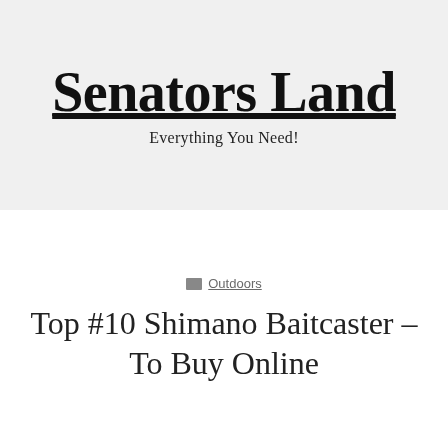Menu
Senators Land
Everything You Need!
Outdoors
Top #10 Shimano Baitcaster – To Buy Online